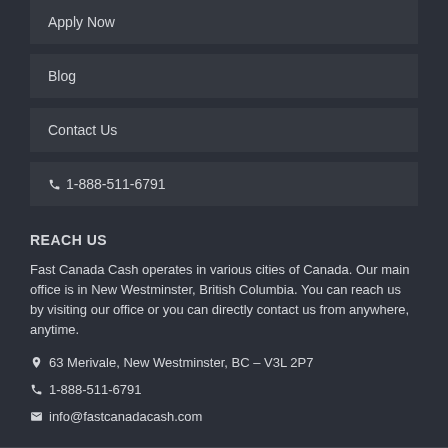Apply Now
Blog
Contact Us
☎ 1-888-511-6791
REACH US
Fast Canada Cash operates in various cities of Canada. Our main office is in New Westminster, British Columbia. You can reach us by visiting our office or you can directly contact us from anywhere, anytime.
63 Merivale, New Westminster, BC – V3L 2P7
1-888-511-6791
info@fastcanadacash.com